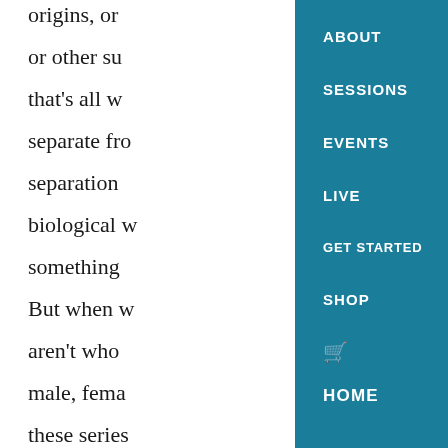origins, or
or other su
that's all w
separate fro
separation
biological w
something
But when w
aren't who
male, fema
these series
enables us t
ABOUT
SESSIONS
EVENTS
LIVE
GET STARTED
SHOP
🛒
HOME